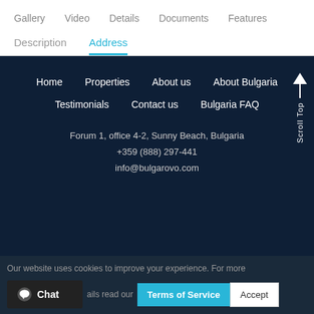Gallery  Video  Details  Documents  Features
Description  Address
Home
Properties
About us
About Bulgaria
Testimonials
Contact us
Bulgaria FAQ
Forum 1, office 4-2, Sunny Beach, Bulgaria
+359 (888) 297-441
info@bulgarovo.com
Our website uses cookies to improve your experience. For more details read our  Terms of Service  Accept